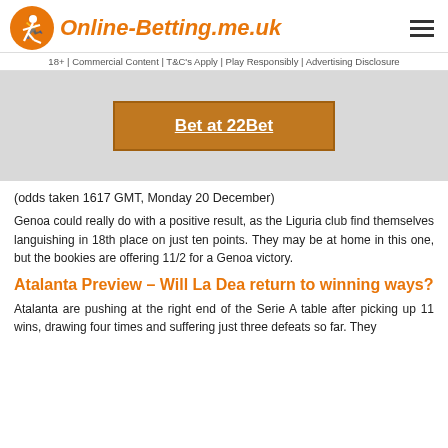Online-Betting.me.uk
18+ | Commercial Content | T&C's Apply | Play Responsibly | Advertising Disclosure
[Figure (other): Advertisement banner with orange 'Bet at 22Bet' button on grey background]
(odds taken 1617 GMT, Monday 20 December)
Genoa could really do with a positive result, as the Liguria club find themselves languishing in 18th place on just ten points. They may be at home in this one, but the bookies are offering 11/2 for a Genoa victory.
Atalanta Preview – Will La Dea return to winning ways?
Atalanta are pushing at the right end of the Serie A table after picking up 11 wins, drawing four times and suffering just three defeats so far. They